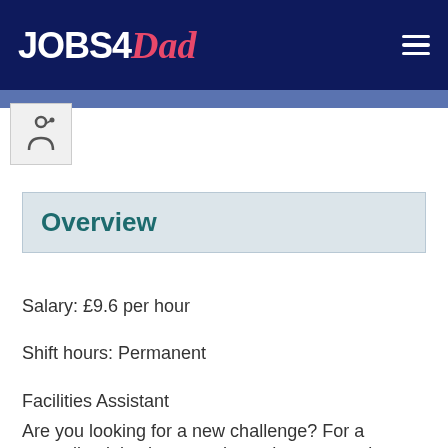JOBS4Dad
[Figure (logo): Circular icon with a music/person symbol, partial view in top-left of content area]
Overview
Salary: £9.6 per hour
Shift hours: Permanent
Facilities Assistant
Are you looking for a new challenge? For a rewarding job where you have the opportunity to make a real